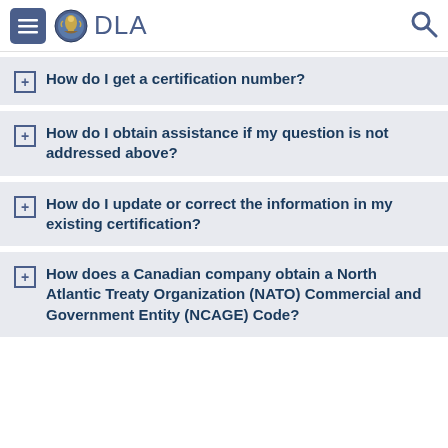DLA
How do I get a certification number?
How do I obtain assistance if my question is not addressed above?
How do I update or correct the information in my existing certification?
How does a Canadian company obtain a North Atlantic Treaty Organization (NATO) Commercial and Government Entity (NCAGE) Code?